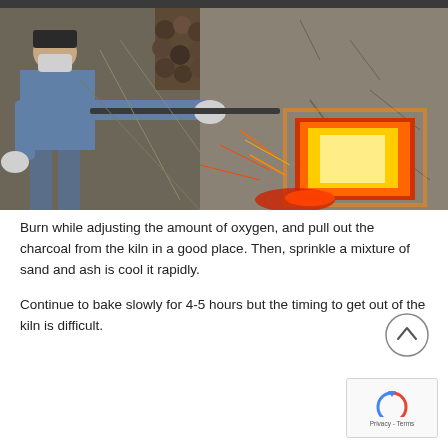[Figure (photo): A person wearing a blue shirt, gloves, and a mask, pulling charcoal from a clay/mud kiln with a red-hot glowing opening. Stacked logs visible in background. Sparks and burning material visible.]
Burn while adjusting the amount of oxygen, and pull out the charcoal from the kiln in a good place. Then, sprinkle a mixture of sand and ash is cool it rapidly.
Continue to bake slowly for 4-5 hours but the timing to get out of the kiln is difficult.